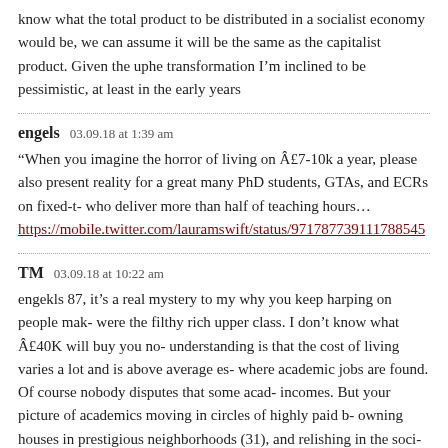know what the total product to be distributed in a socialist economy would be, we can assume it will be the same as the capitalist product. Given the upheaval of transformation I'm inclined to be pessimistic, at least in the early years
engels   03.09.18 at 1:39 am
“When you imagine the horror of living on Â£7-10k a year, please also consider present reality for a great many PhD students, GTAs, and ECRs on fixed-term who deliver more than half of teaching hours…
https://mobile.twitter.com/lauramswift/status/971787739111788545
TM   03.09.18 at 10:22 am
engekls 87, it's a real mystery to my why you keep harping on people making were the filthy rich upper class. I don't know what Â£40K will buy you now, understanding is that the cost of living varies a lot and is above average especially where academic jobs are found. Of course nobody disputes that some academics incomes. But your picture of academics moving in circles of highly paid bankers, owning houses in prestigious neighborhoods (31), and relishing in the social